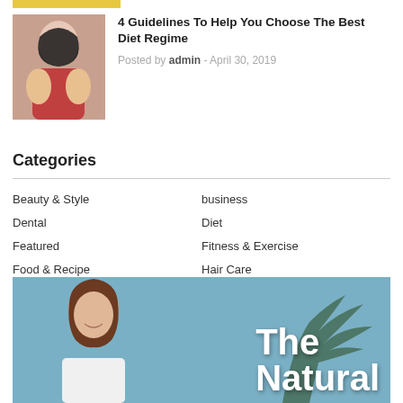[Figure (photo): Thumbnail image strip at top (partial yellow image visible)]
4 Guidelines To Help You Choose The Best Diet Regime
Posted by admin - April 30, 2019
Categories
Beauty & Style
business
Dental
Diet
Featured
Fitness & Exercise
Food & Recipe
Hair Care
Health
Job
Law
Pets
Plastic Surgery
Weight Loss
[Figure (photo): Bottom banner image showing a smiling woman with brown hair outdoors with palm tree background, with text 'The Natural' overlaid in white bold font]